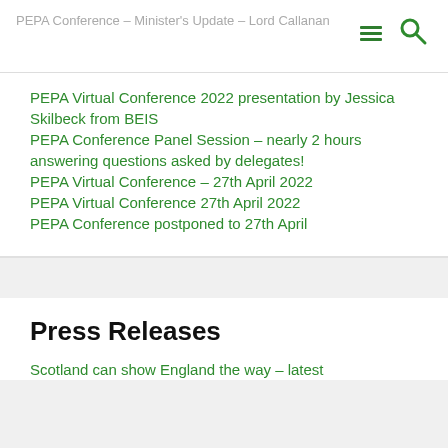PEPA Conference – Minister's Update – Lord Callanan
PEPA Virtual Conference 2022 presentation by Jessica Skilbeck from BEIS
PEPA Conference Panel Session – nearly 2 hours answering questions asked by delegates!
PEPA Virtual Conference – 27th April 2022
PEPA Virtual Conference 27th April 2022
PEPA Conference postponed to 27th April
Press Releases
Scotland can show England the way – latest